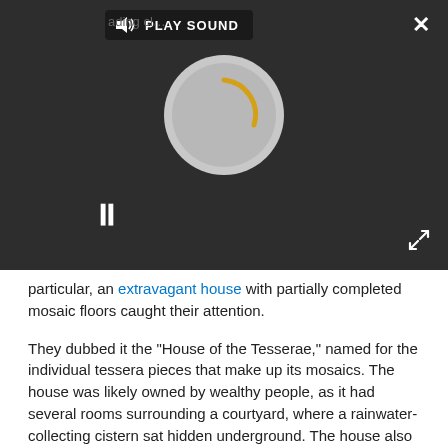[Figure (screenshot): Video player overlay on a dark background showing a PLAY SOUND button at the top, a circular spinner/loading icon in the center, a pause button (two vertical bars) at lower left, a close (X) button at top right, and an expand button at bottom right.]
particular, an extravagant house with partially completed mosaic floors caught their attention.
They dubbed it the "House of the Tesserae," named for the individual tessera pieces that make up its mosaics. The house was likely owned by wealthy people, as it had several rooms surrounding a courtyard, where a rainwater-collecting cistern sat hidden underground. The house also had a porch lined with Roman-style Corinthian columns, said study co-researcher Rubina Raja, a professor of classical archaeology at Aarhus University in